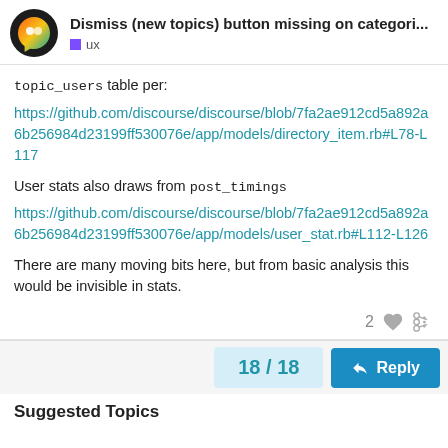Dismiss (new topics) button missing on categori... ux
topic_users table per:
https://github.com/discourse/discourse/blob/7fa2ae912cd5a892a6b256984d23199ff530076e/app/models/directory_item.rb#L78-L117
User stats also draws from post_timings
https://github.com/discourse/discourse/blob/7fa2ae912cd5a892a6b256984d23199ff530076e/app/models/user_stat.rb#L112-L126
There are many moving bits here, but from basic analysis this would be invisible in stats.
2
18 / 18
Reply
Suggested Topics